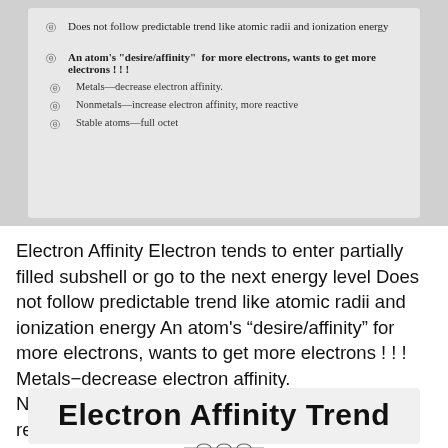Does not follow predictable trend like atomic radii and ionization energy
An atom's "desire/affinity" for more electrons, wants to get more electrons ! ! !
Metals—decrease electron affinity.
Nonmetals—increase electron affinity, more reactive
Stable atoms—full octet
Electron Affinity Electron tends to enter partially filled subshell or go to the next energy level Does not follow predictable trend like atomic radii and ionization energy An atom's “desire/affinity” for more electrons, wants to get more electrons ! ! ! Metals−decrease electron affinity. Nonmetals−increase electron affinity, more reactive Stable atoms−full octet
Electron Affinity Trend